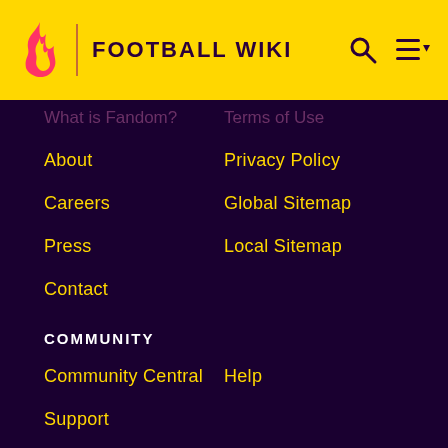FOOTBALL WIKI
What is Fandom?
Terms of Use
About
Privacy Policy
Careers
Global Sitemap
Press
Local Sitemap
Contact
COMMUNITY
Community Central
Help
Support
ADVERTISE
Media Kit